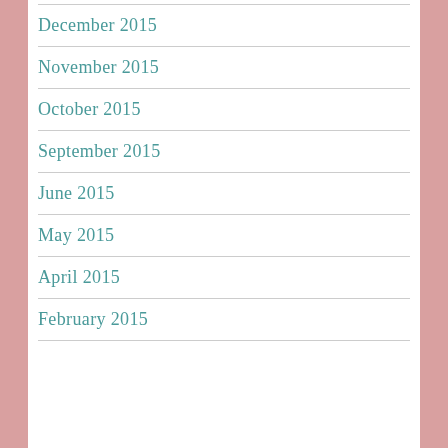December 2015
November 2015
October 2015
September 2015
June 2015
May 2015
April 2015
February 2015